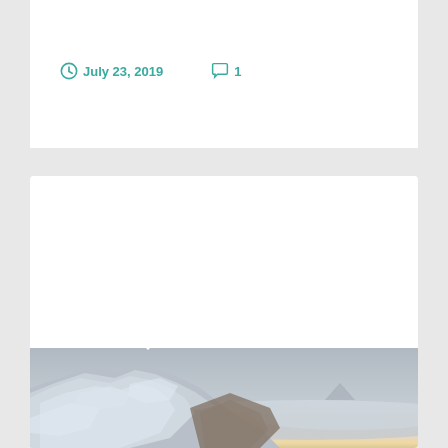July 23, 2019   1
100 Peaks #26: The Ways I Have Loved Tahoma (Mt. Rainier)
[Figure (photo): Mountain landscape showing icy, snow-covered rocky terrain in the foreground with a sea of clouds below and a distant mountain peak visible on the horizon at dusk or dawn with yellowish-orange light on the horizon and overcast grey sky above.]